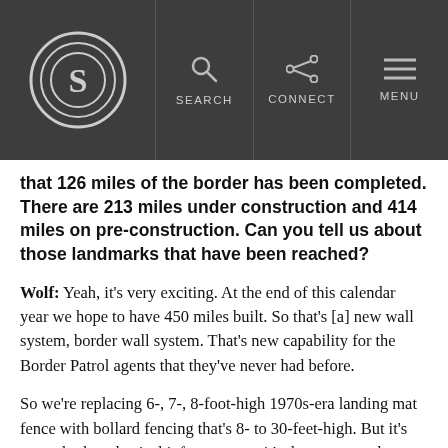S logo | SEARCH | CONNECT | MENU
that 126 miles of the border has been completed. There are 213 miles under construction and 414 miles on pre-construction. Can you tell us about those landmarks that have been reached?
Wolf: Yeah, it's very exciting. At the end of this calendar year we hope to have 450 miles built. So that's [a] new wall system, border wall system. That's new capability for the Border Patrol agents that they've never had before.
So we're replacing 6-, 7-, 8-foot-high 1970s-era landing mat fence with bollard fencing that's 8- to 30-feet-high. But it's not only that physical infrastructure, it's the cameras, the roads, the lighting, the fiber optic